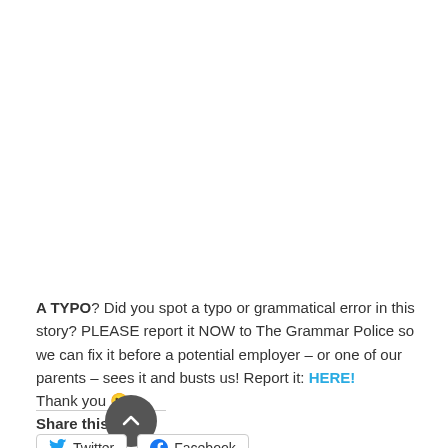A TYPO? Did you spot a typo or grammatical error in this story? PLEASE report it NOW to The Grammar Police so we can fix it before a potential employer – or one of our parents – sees it and busts us! Report it: HERE! Thank you 🙂
Share this:
[Figure (other): Twitter and Facebook share buttons with a scroll-to-top circular button overlay]